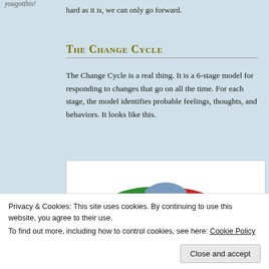yougotthis!
hard as it is, we can only go forward.
The Change Cycle
The Change Cycle is a real thing. It is a 6-stage model for responding to changes that go on all the time. For each stage, the model identifies probable feelings, thoughts, and behaviors. It looks like this.
[Figure (infographic): A circular diagram showing the Change Cycle with 6 stages. Visible sections include Stage 6 'Integration' (green, Feeling of Satisfaction) and Stage 1 'Loss' (red, Feeling of Fear, Thoughts of Cautious) at the top, with 'Change' label at the center top in blue/grey. The wheel is partially cut off at the bottom.]
Privacy & Cookies: This site uses cookies. By continuing to use this website, you agree to their use.
To find out more, including how to control cookies, see here: Cookie Policy
Close and accept